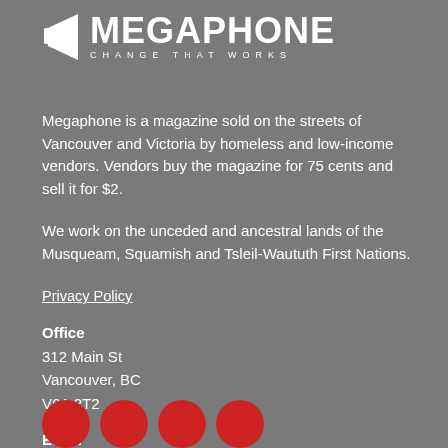[Figure (logo): Megaphone magazine logo — a white play/megaphone icon followed by the text MEGAPHONE in large white bold uppercase letters, with tagline CHANGE THAT WORKS in small spaced uppercase letters below]
Megaphone is a magazine sold on the streets of Vancouver and Victoria by homeless and low-income vendors. Vendors buy the magazine for 75 cents and sell it for $2.
We work on the unceded and ancestral lands of the Musqueam, Squamish and Tsleil-Waututh First Nations.
Privacy Policy
Office
312 Main St
Vancouver, BC
V6A 2T2
Email
info@megaphonemagazine.com
Phone
604-255-9701
[Figure (illustration): Three red circles partially visible at the bottom of the page representing social media icon buttons]